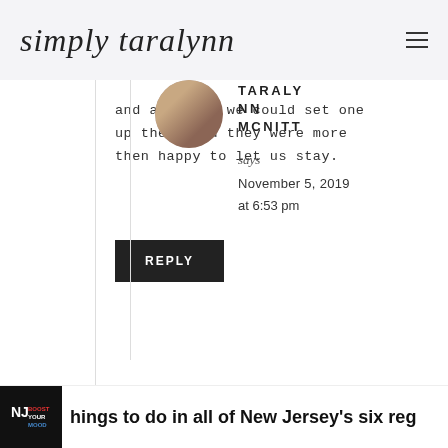simply taralynn
and asked if we could set one up there and they were more then happy to let us stay.
REPLY
TARALYNN MCNITT says November 5, 2019 at 6:53 pm
hings to do in all of New Jersey's six reg